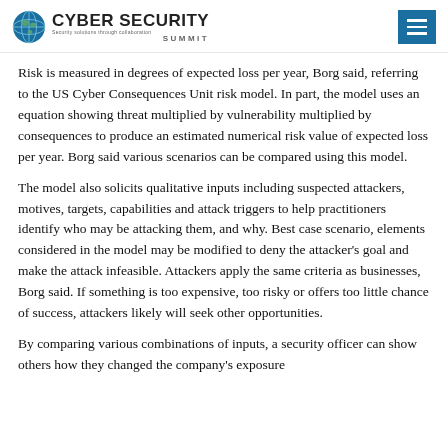Cyber Security Summit
Risk is measured in degrees of expected loss per year, Borg said, referring to the US Cyber Consequences Unit risk model. In part, the model uses an equation showing threat multiplied by vulnerability multiplied by consequences to produce an estimated numerical risk value of expected loss per year. Borg said various scenarios can be compared using this model.
The model also solicits qualitative inputs including suspected attackers, motives, targets, capabilities and attack triggers to help practitioners identify who may be attacking them, and why. Best case scenario, elements considered in the model may be modified to deny the attacker’s goal and make the attack infeasible. Attackers apply the same criteria as businesses, Borg said. If something is too expensive, too risky or offers too little chance of success, attackers likely will seek other opportunities.
By comparing various combinations of inputs, a security officer can show others how they changed the company’s exposure